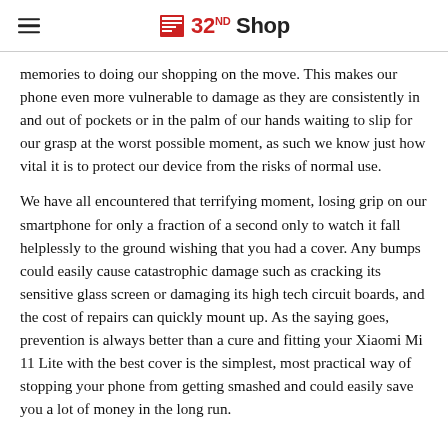32ND Shop
memories to doing our shopping on the move. This makes our phone even more vulnerable to damage as they are consistently in and out of pockets or in the palm of our hands waiting to slip for our grasp at the worst possible moment, as such we know just how vital it is to protect our device from the risks of normal use.
We have all encountered that terrifying moment, losing grip on our smartphone for only a fraction of a second only to watch it fall helplessly to the ground wishing that you had a cover. Any bumps could easily cause catastrophic damage such as cracking its sensitive glass screen or damaging its high tech circuit boards, and the cost of repairs can quickly mount up. As the saying goes, prevention is always better than a cure and fitting your Xiaomi Mi 11 Lite with the best cover is the simplest, most practical way of stopping your phone from getting smashed and could easily save you a lot of money in the long run.